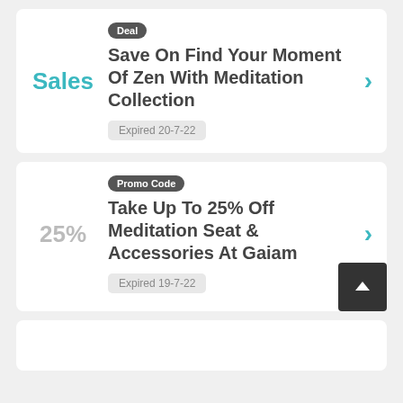Deal
Save On Find Your Moment Of Zen With Meditation Collection
Sales
Expired 20-7-22
Promo Code
Take Up To 25% Off Meditation Seat & Accessories At Gaiam
25%
Expired 19-7-22